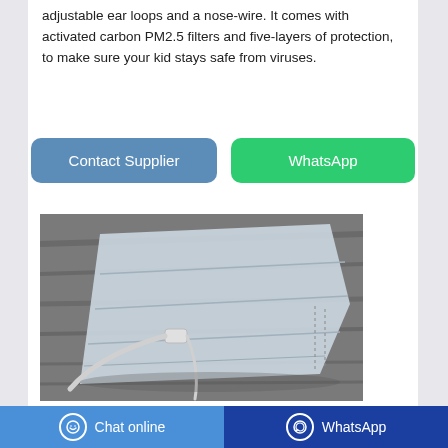adjustable ear loops and a nose-wire. It comes with activated carbon PM2.5 filters and five-layers of protection, to make sure your kid stays safe from viruses.
[Figure (other): Two buttons: 'Contact Supplier' (blue rounded) and 'WhatsApp' (green rounded)]
[Figure (photo): Black and white photo of a disposable face mask lying on a wooden surface, showing ear loop and folded layers]
Chat online   WhatsApp